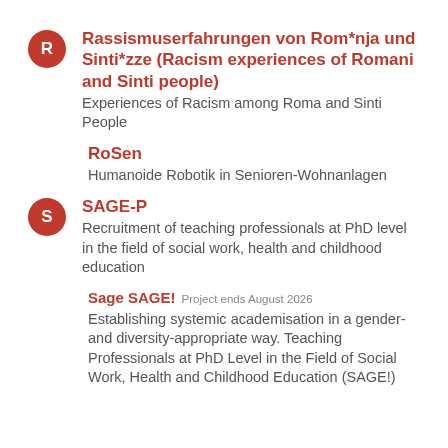Rassismuserfahrungen von Rom*nja und Sinti*zze (Racism experiences of Romani and Sinti people)
Experiences of Racism among Roma and Sinti People
RoSen
Humanoide Robotik in Senioren-Wohnanlagen
SAGE-P
Recruitment of teaching professionals at PhD level in the field of social work, health and childhood education
Sage SAGE! Project ends August 2026
Establishing systemic academisation in a gender- and diversity-appropriate way. Teaching Professionals at PhD Level in the Field of Social Work, Health and Childhood Education (SAGE!)